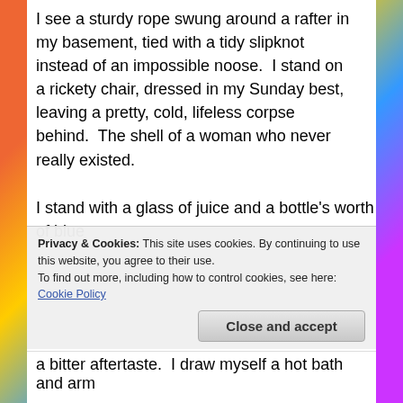I see a sturdy rope swung around a rafter in my basement, tied with a tidy slipknot instead of an impossible noose.  I stand on a rickety chair, dressed in my Sunday best, leaving a pretty, cold, lifeless corpse behind.  The shell of a woman who never really existed.
I stand with a glass of juice and a bottle's worth of blue pills in my hand.  I am ready,
[Figure (illustration): A distressed old paper/letter with dark red bloodstain spots and handwritten text, titled 'A Suicide Note' in serif white/cream font on a dark brown background]
Privacy & Cookies: This site uses cookies. By continuing to use this website, you agree to their use.
To find out more, including how to control cookies, see here: Cookie Policy
Close and accept
a bitter aftertaste.  I draw myself a hot bath and arm